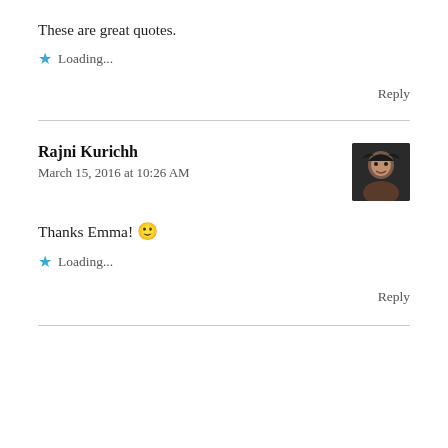These are great quotes.
★ Loading...
Reply
Rajni Kurichh
March 15, 2016 at 10:26 AM
Thanks Emma! 🙂
★ Loading...
Reply